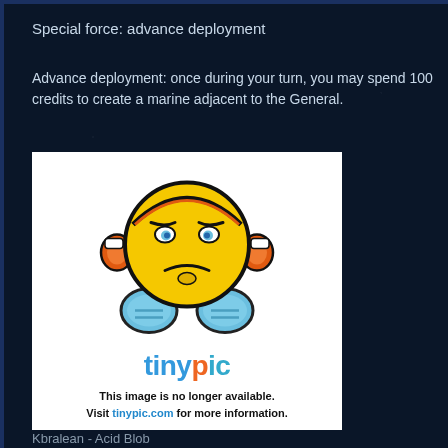Special force: advance deployment
Advance deployment: once during your turn, you may spend 100 credits to create a marine adjacent to the General.
[Figure (illustration): Tinypic placeholder image showing a frustrated yellow emoji character with headphones, hands folded, below the tinypic logo and text reading: This image is no longer available. Visit tinypic.com for more information.]
Kbralean - Acid Blob